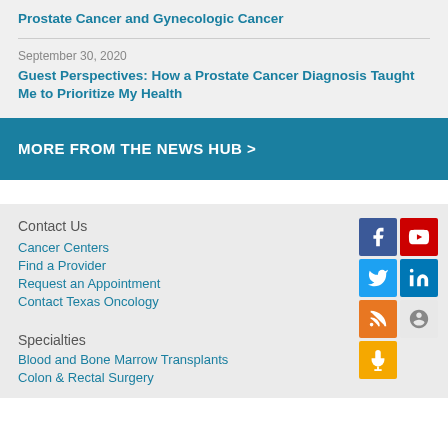Prostate Cancer and Gynecologic Cancer
September 30, 2020
Guest Perspectives: How a Prostate Cancer Diagnosis Taught Me to Prioritize My Health
MORE FROM THE NEWS HUB >
Contact Us
Cancer Centers
Find a Provider
Request an Appointment
Contact Texas Oncology
Specialties
Blood and Bone Marrow Transplants
Colon & Rectal Surgery